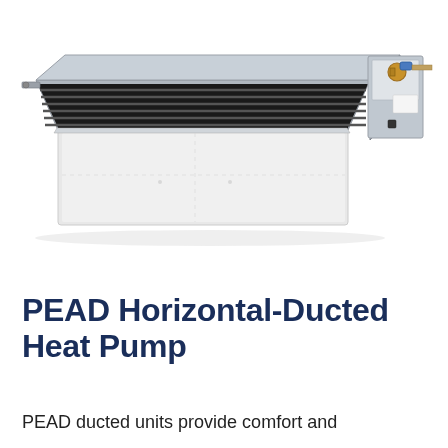[Figure (photo): Photograph of a PEAD Horizontal-Ducted Heat Pump unit mounted to a ceiling, viewed from below at an angle. The unit is a rectangular silver/grey metal box with a white flat bottom panel visible. The front face shows horizontal dark metal fins (heat exchanger). On the right side there are copper/brass pipe connections and a control box with wiring.]
PEAD Horizontal-Ducted Heat Pump
PEAD ducted units provide comfort and